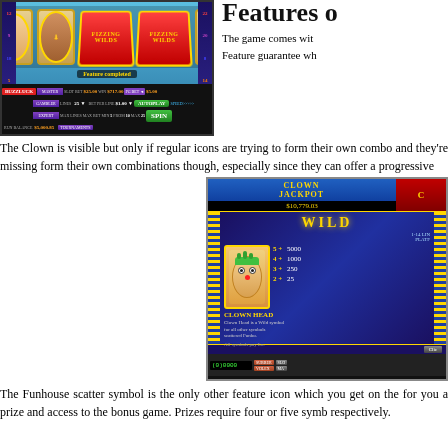[Figure (screenshot): Slot machine game screenshot showing BuzzLuck casino game with reels featuring clown, pirate characters, Fizzing Wilds symbols, green drink, and game controls at bottom including slot bet $25.00, win $717.00, autoplay and spin buttons]
Features o
The game comes wit Feature guarantee wh
The Clown is visible but only if regular icons are trying to form their own combo and they're missing form their own combinations though, especially since they can offer a progressive
[Figure (screenshot): Clown Jackpot slot game paytable screenshot showing Wild symbol info for Clown Head, with jackpot amount $10,779.03, pay table showing 5+=5000, 4+=1000, 3+=250, 2+=25, and description that Clown Head is a wild symbol for all other symbols, scattered Funbo. All symbols pay Lo. Game controls visible at bottom.]
The Funhouse scatter symbol is the only other feature icon which you get on the for you a prize and access to the bonus game. Prizes require four or five symb respectively.